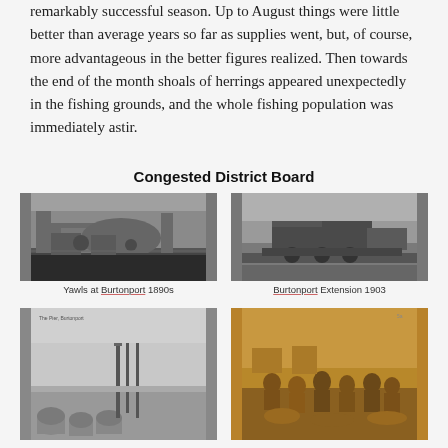remarkably successful season. Up to August things were little better than average years so far as supplies went, but, of course, more advantageous in the better figures realized. Then towards the end of the month shoals of herrings appeared unexpectedly in the fishing grounds, and the whole fishing population was immediately astir.
Congested District Board
[Figure (photo): Black and white photograph of yawls at Burtonport, 1890s]
Yawls at Burtonport 1890s
[Figure (photo): Black and white photograph of a steam train - Burtonport Extension 1903]
Burtonport Extension 1903
[Figure (photo): Black and white photograph of a pier scene with barrels]
[Figure (photo): Sepia photograph of people seated outdoors]